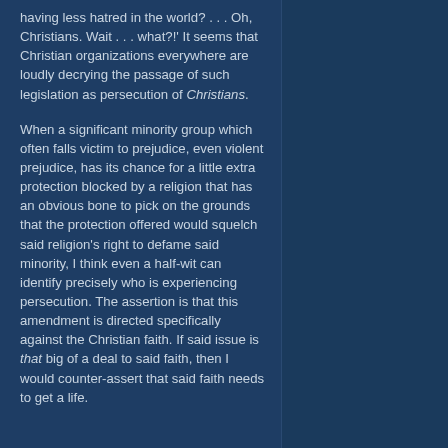having less hatred in the world? . . . Oh, Christians. Wait . . . what?!' It seems that Christian organizations everywhere are loudly decrying the passage of such legislation as persecution of Christians.
When a significant minority group which often falls victim to prejudice, even violent prejudice, has its chance for a little extra protection blocked by a religion that has an obvious bone to pick on the grounds that the protection offered would squelch said religion's right to defame said minority, I think even a half-wit can identify precisely who is experiencing persecution. The assertion is that this amendment is directed specifically against the Christian faith. If said issue is that big of a deal to said faith, then I would counter-assert that said faith needs to get a life.